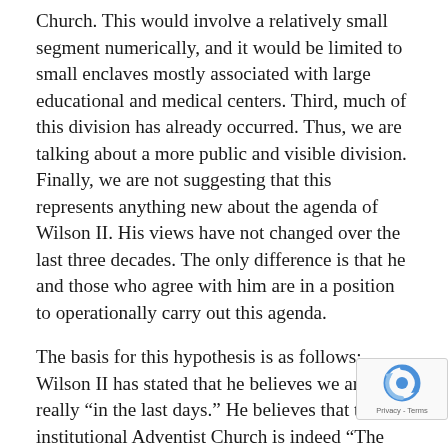Church. This would involve a relatively small segment numerically, and it would be limited to small enclaves mostly associated with large educational and medical centers. Third, much of this division has already occurred. Thus, we are talking about a more public and visible division. Finally, we are not suggesting that this represents anything new about the agenda of Wilson II. His views have not changed over the last three decades. The only difference is that he and those who agree with him are in a position to operationally carry out this agenda.
The basis for this hypothesis is as follows: Wilson II has stated that he believes we are really “in the last days.” He believes that the institutional Adventist Church is indeed “The Remnant Church,” and that the Adventist Church is going to be the key element in bringing “The End.” He also believes that before “The End” comes, “The Shaking Time” will take place in the
[Figure (other): reCAPTCHA badge with blue/grey circular arrow logo and 'Privacy - Terms' text]